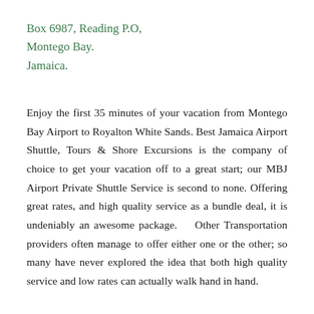Box 6987, Reading P.O,
Montego Bay.
Jamaica.
Enjoy the first 35 minutes of your vacation from Montego Bay Airport to Royalton White Sands. Best Jamaica Airport Shuttle, Tours & Shore Excursions is the company of choice to get your vacation off to a great start; our MBJ Airport Private Shuttle Service is second to none. Offering great rates, and high quality service as a bundle deal, it is undeniably an awesome package.    Other Transportation providers often manage to offer either one or the other; so many have never explored the idea that both high quality service and low rates can actually walk hand in hand.